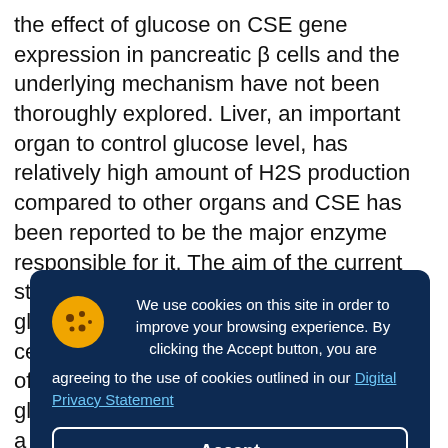the effect of glucose on CSE gene expression in pancreatic β cells and the underlying mechanism have not been thoroughly explored. Liver, an important organ to control glucose level, has relatively high amount of H2S production compared to other organs and CSE has been reported to be the major enzyme responsible for it. The aim of the current study was to investigate the effect of glucose on CSE expression in INS-1E cells (insulin-secreting β cells) and the role of H2S on basal and insulin-stimulated glucose uptake, glycogen synthesis a... w... a... e... a... r... p... p... le... downregulation of CSE gene expression. Diminished H2S
[Figure (screenshot): Cookie consent overlay with dark navy background. Shows cookie icon, message about using cookies to improve browsing experience, link to Digital Privacy Statement, and an Accept button.]